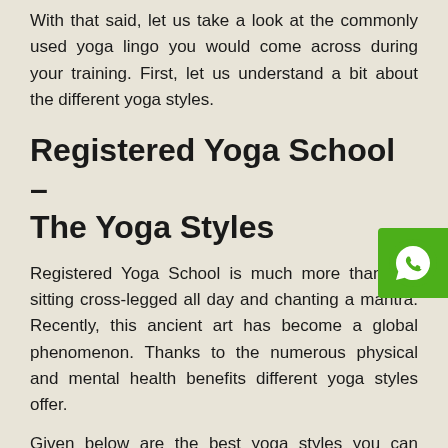With that said, let us take a look at the commonly used yoga lingo you would come across during your training. First, let us understand a bit about the different yoga styles.
Registered Yoga School – The Yoga Styles
Registered Yoga School is much more than just sitting cross-legged all day and chanting a mantra. Recently, this ancient art has become a global phenomenon. Thanks to the numerous physical and mental health benefits different yoga styles offer.
Given below are the best yoga styles you can choose to learn.
1. Aerial Yoga